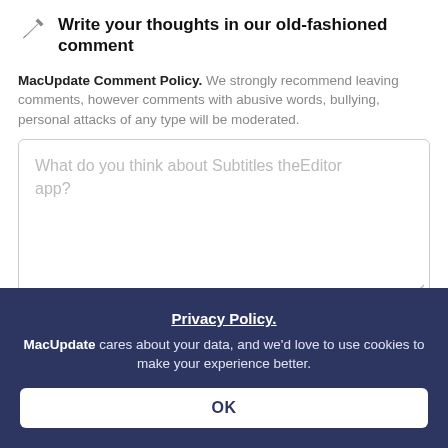Write your thoughts in our old-fashioned comment
MacUpdate Comment Policy. We strongly recommend leaving comments, however comments with abusive words, bullying, personal attacks of any type will be moderated.
[Figure (screenshot): Text input area with placeholder text: What do you think about Subtitles theEditor app?]
Email me when someone replies to this comment
Privacy Policy. MacUpdate cares about your data, and we'd love to use cookies to make your experience better.
OK